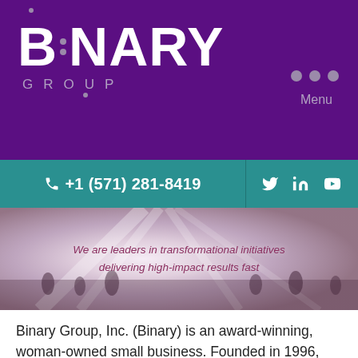[Figure (logo): Binary Group logo — large white BINARY text with vertical dots forming the letter I, and GROUP in spaced gray letters below, on purple background]
Menu
+1 (571) 281-8419
[Figure (infographic): Hero banner with blurred crowd/motion background and italic text: We are leaders in transformational initiatives delivering high-impact results fast]
Binary Group, Inc. (Binary) is an award-winning, woman-owned small business. Founded in 1996, Binary continues to be a leader in transformational initiatives, delivering high impact results that matter for our federal government customers in the DoD, Intel Community, Health